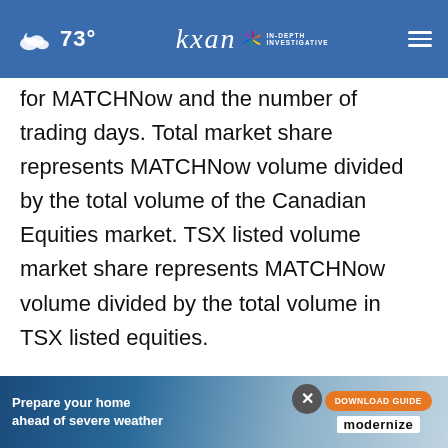73° kxan IN-DEPTH INVESTIGATIVE
for MATCHNow and the number of trading days. Total market share represents MATCHNow volume divided by the total volume of the Canadian Equities market. TSX listed volume market share represents MATCHNow volume divided by the total volume in TSX listed equities.

European Equities, "net capture per matched notional value" refers to transaction fees less liquidity payments, divided by the product of shares
[Figure (screenshot): Advertisement banner: 'Prepare your home ahead of severe weather' with DOWNLOAD GUIDE button and modernize logo, with a close (X) button overlay]